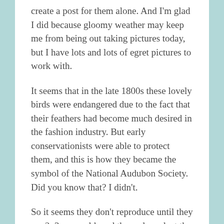create a post for them alone.  And I'm glad I did because gloomy weather may keep me from being out taking pictures today, but I have lots and lots of egret pictures to work with.
It seems that in the late 1800s these lovely birds were endangered due to the fact that their feathers had become much desired in the fashion industry.  But early conservationists were able to protect them, and this is how they became the symbol of the National Audubon Society.  Did you know that?  I didn't.
So it seems they don't reproduce until they are 2–3 years old, and the males select the nesting site, sometimes alone but often in colonies.  At first he drives off other birds, but in the close quarters in which I see them I'll have to take Wikipedia's word